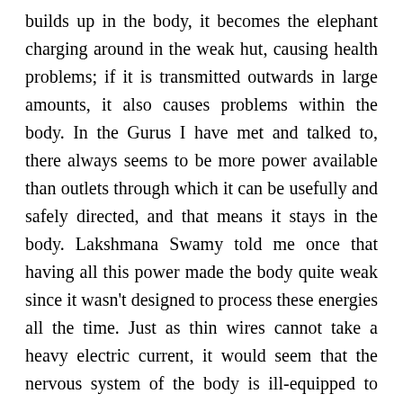builds up in the body, it becomes the elephant charging around in the weak hut, causing health problems; if it is transmitted outwards in large amounts, it also causes problems within the body. In the Gurus I have met and talked to, there always seems to be more power available than outlets through which it can be usefully and safely directed, and that means it stays in the body. Lakshmana Swamy told me once that having all this power made the body quite weak since it wasn't designed to process these energies all the time. Just as thin wires cannot take a heavy electric current, it would seem that the nervous system of the body is ill-equipped to deal with major and continuous flows of sakti.
There is a third option that I briefly alluded to when